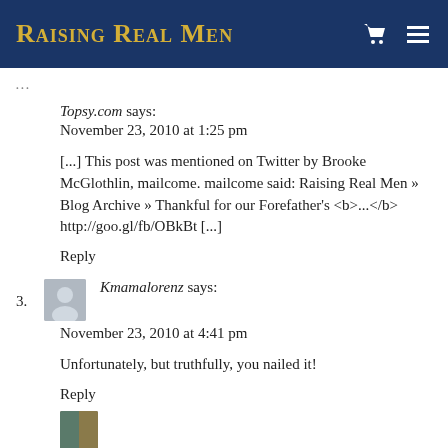Raising Real Men
[partial top line - cut off]
Topsy.com says:
November 23, 2010 at 1:25 pm
[...] This post was mentioned on Twitter by Brooke McGlothlin, mailcome. mailcome said: Raising Real Men » Blog Archive » Thankful for our Forefather's <b>...</b> http://goo.gl/fb/OBkBt [...]
Reply
3. Kmamalorenz says:
November 23, 2010 at 4:41 pm
Unfortunately, but truthfully, you nailed it!
Reply